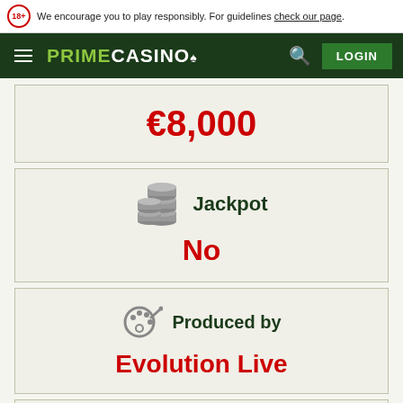We encourage you to play responsibly. For guidelines check our page.
[Figure (logo): Prime Casino logo with hamburger menu, search icon, and LOGIN button on dark green nav bar]
€8,000
Jackpot
No
Produced by
Evolution Live